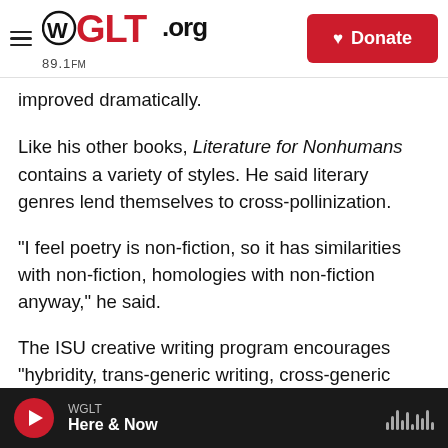WGLT.org 89.1FM | Donate
improved dramatically.
Like his other books, Literature for Nonhumans contains a variety of styles. He said literary genres lend themselves to cross-pollinization.
"I feel poetry is non-fiction, so it has similarities with non-fiction, homologies with non-fiction anyway," he said.
The ISU creative writing program encourages "hybridity, trans-generic writing, cross-generic writing," he said. "We encourage our students to not
WGLT | Here & Now